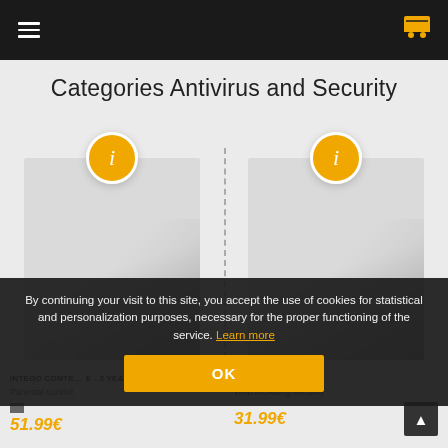Navigation bar with hamburger menu and cart icon
Categories Antivirus and Security
[Figure (screenshot): Two product cards with info (i) circles, gray gradient boxes, partially visible product images for antivirus software]
INTEGO CONTE... - 2 YEARS
Parental control
51.99€
Web browsing security
31.99€
By continuing your visit to this site, you accept the use of cookies for statistical and personalization purposes, necessary for the proper functioning of the service. Learn more
OK